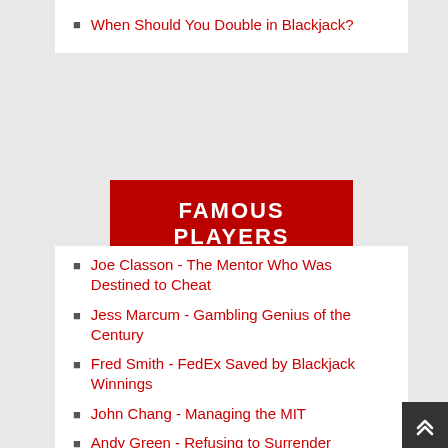When Should You Double in Blackjack?
FAMOUS PLAYERS
Joe Classon - The Mentor Who Was Destined to Cheat
Jess Marcum - Gambling Genius of the Century
Fred Smith - FedEx Saved by Blackjack Winnings
John Chang - Managing the MIT
Andy Green - Refusing to Surrender
Ian Anderson - Blackjack's Man of Mystery